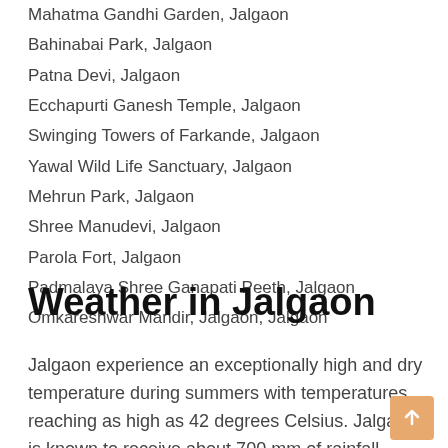Mahatma Gandhi Garden, Jalgaon
Bahinabai Park, Jalgaon
Patna Devi, Jalgaon
Ecchapurti Ganesh Temple, Jalgaon
Swinging Towers of Farkande, Jalgaon
Yawal Wild Life Sanctuary, Jalgaon
Mehrun Park, Jalgaon
Shree Manudevi, Jalgaon
Parola Fort, Jalgaon
Padmalaya Shree Ganapati Peeth, Jalgaon
Omkareshwar Mandir, Jalgaon, Jalgaon
Weather in Jalgaon
Jalgaon experience an exceptionally high and dry temperature during summers with temperatures reaching as high as 42 degrees Celsius. Jalgaon is known to receive about 700 mm of rainfall during the rainy season. Pleasant temperature is in winter, hence, it is advised to pay a visit to